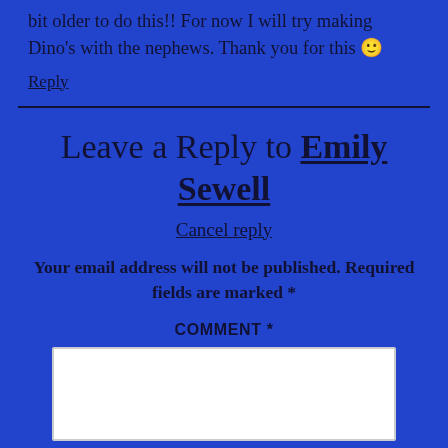bit older to do this!! For now I will try making Dino's with the nephews. Thank you for this 🙂
Reply
Leave a Reply to Emily Sewell
Cancel reply
Your email address will not be published. Required fields are marked *
COMMENT *